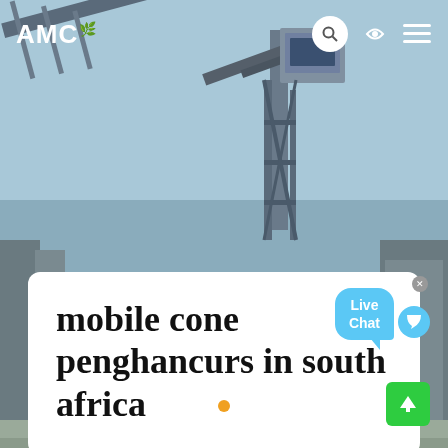[Figure (photo): Industrial mining equipment / conveyor structure photographed against a light blue sky, with metal framework, hopper, pipes and concrete ground visible]
AMC [logo with leaf icon] | search icon | globe/navigation icon | hamburger menu icon
mobile cone penghancurs in south africa
Slider navigation dots (3 dots, second dot highlighted in orange)